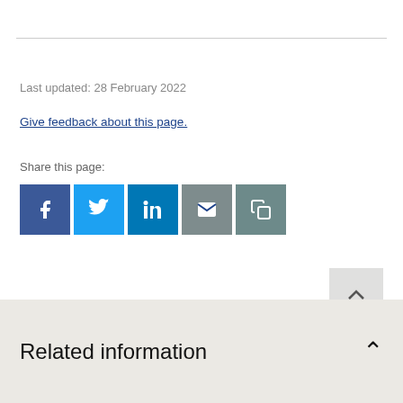Last updated: 28 February 2022
Give feedback about this page.
Share this page:
[Figure (other): Social share buttons: Facebook, Twitter, LinkedIn, Email, Copy link]
Related information